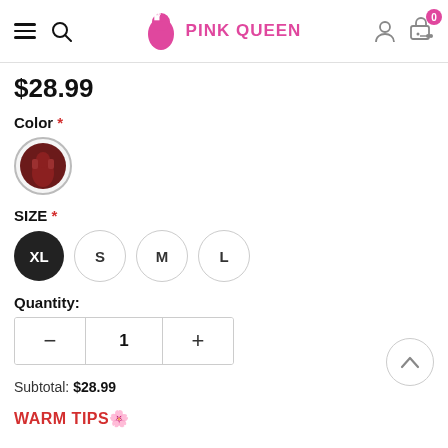PINK QUEEN
$28.99
Color *
[Figure (photo): Circular color swatch showing a dark burgundy/maroon clothing item thumbnail]
SIZE *
Size options: XL (selected), S, M, L
Quantity:
Quantity selector: minus, 1, plus
Subtotal: $28.99
WARM TIPS🌸